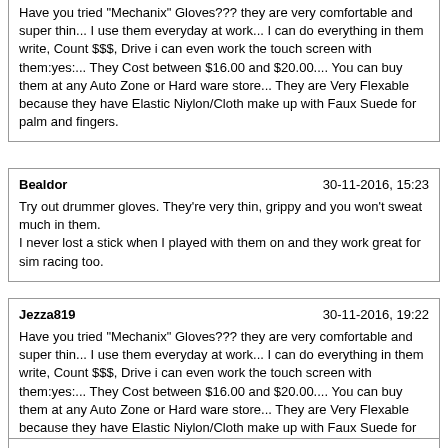Have you tried "Mechanix" Gloves??? they are very comfortable and super thin... I use them everyday at work... I can do everything in them write, Count $$$, Drive i can even work the touch screen with them:yes:... They Cost between $16.00 and $20.00.... You can buy them at any Auto Zone or Hard ware store... They are Very Flexable because they have Elastic Niylon/Cloth make up with Faux Suede for palm and fingers.
Bealdor	30-11-2016, 15:23
Try out drummer gloves. They're very thin, grippy and you won't sweat much in them.
I never lost a stick when I played with them on and they work great for sim racing too.
Jezza819	30-11-2016, 19:22
Have you tried "Mechanix" Gloves??? they are very comfortable and super thin... I use them everyday at work... I can do everything in them write, Count $$$, Drive i can even work the touch screen with them:yes:... They Cost between $16.00 and $20.00.... You can buy them at any Auto Zone or Hard ware store... They are Very Flexable because they have Elastic Niylon/Cloth make up with Faux Suede for palm and fingers.

No I didn't think of that but these that I have now work just fine. I just hate that I didn't remember I had them until I spent money on two other pair that I didn't like.


Try out drummer gloves. They're very thin, grippy and you won't sweat much in them.
I never lost a stick when I played with them on and they work great for sim racing too.

Golf gloves would probably work also.